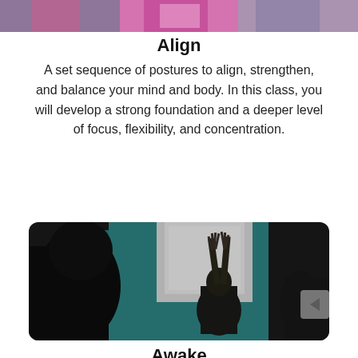[Figure (photo): Cropped top portion of a fitness/yoga class photo showing people in colorful workout attire]
Align
A set sequence of postures to align, strengthen, and balance your mind and body. In this class, you will develop a strong foundation and a deeper level of focus, flexibility, and concentration.
[Figure (photo): Dark, moody yoga class photo showing silhouette of person with arms raised toward light in front of teal wall]
Awake